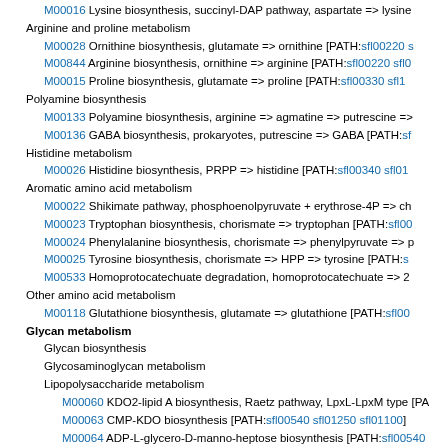M00016 Lysine biosynthesis, succinyl-DAP pathway, aspartate => lysine
Arginine and proline metabolism
M00028 Ornithine biosynthesis, glutamate => ornithine [PATH:sfl00220 s…
M00844 Arginine biosynthesis, ornithine => arginine [PATH:sfl00220 sfl0…
M00015 Proline biosynthesis, glutamate => proline [PATH:sfl00330 sfl1…
Polyamine biosynthesis
M00133 Polyamine biosynthesis, arginine => agmatine => putrescine =>
M00136 GABA biosynthesis, prokaryotes, putrescine => GABA [PATH:sf…
Histidine metabolism
M00026 Histidine biosynthesis, PRPP => histidine [PATH:sfl00340 sfl01…
Aromatic amino acid metabolism
M00022 Shikimate pathway, phosphoenolpyruvate + erythrose-4P => ch…
M00023 Tryptophan biosynthesis, chorismate => tryptophan [PATH:sfl00…
M00024 Phenylalanine biosynthesis, chorismate => phenylpyruvate => p…
M00025 Tyrosine biosynthesis, chorismate => HPP => tyrosine [PATH:s…
M00533 Homoprotocatechuate degradation, homoprotocatechuate => 2…
Other amino acid metabolism
M00118 Glutathione biosynthesis, glutamate => glutathione [PATH:sfl00…
Glycan metabolism
Glycan biosynthesis
Glycosaminoglycan metabolism
Lipopolysaccharide metabolism
M00060 KDO2-lipid A biosynthesis, Raetz pathway, LpxL-LpxM type [PA…
M00063 CMP-KDO biosynthesis [PATH:sfl00540 sfl01250 sfl01100]
M00064 ADP-L-glycero-D-manno-heptose biosynthesis [PATH:sfl00540…
Metabolism of cofactors and vitamins
Cofactor and vitamin metabolism
M00899 Thiamine salvage pathway, HMP/HET => TMP [PATH:sfl00730…
M00125 Riboflavin biosynthesis, plants and bacteria, GTP => riboflavin/…
M00124 Pyridoxal-P biosynthesis, erythrose-4P => pyridoxal-P [PATH:sf…
M00115 NAD biosynthesis, aspartate => quinolinate => NAD [PATH:sfl0…
M00119 Pantothenate biosynthesis, valine/L-aspartate => pantothenate…
M00120 Coenzyme A biosynthesis, pantothenate => CoA [PATH:sfl00…